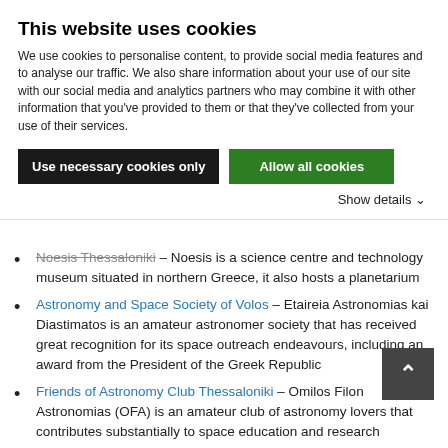This website uses cookies
We use cookies to personalise content, to provide social media features and to analyse our traffic. We also share information about your use of our site with our social media and analytics partners who may combine it with other information that you've provided to them or that they've collected from your use of their services.
Use necessary cookies only | Allow all cookies | Show details
Noesis Thessaloniki – Noesis is a science centre and technology museum situated in northern Greece, it also hosts a planetarium
Astronomy and Space Society of Volos – Etaireia Astronomias kai Diastimatos is an amateur astronomer society that has received great recognition for its space outreach endeavours, including an award from the President of the Greek Republic
Friends of Astronomy Club Thessaloniki – Omilos Filon Astronomias (OFA) is an amateur club of astronomy lovers that contributes substantially to space education and research